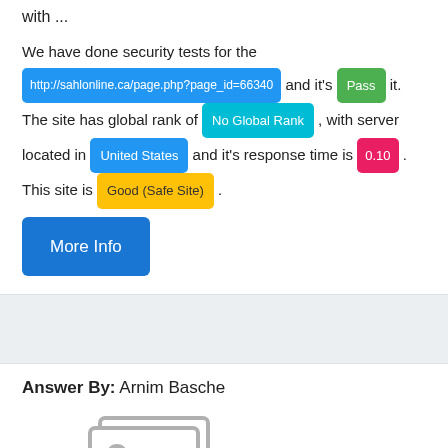with ...
We have done security tests for the http://sahlonline.ca/page.php?page_id=66340 and it's Pass it. The site has global rank of No Global Rank, with server located in United States and it's response time is 0.10. This site is Good (Safe Site).
More Info
Answer By: Arnim Basche
[Figure (illustration): Placeholder image icon showing a landscape/photo symbol with mountains and sun, in gray]